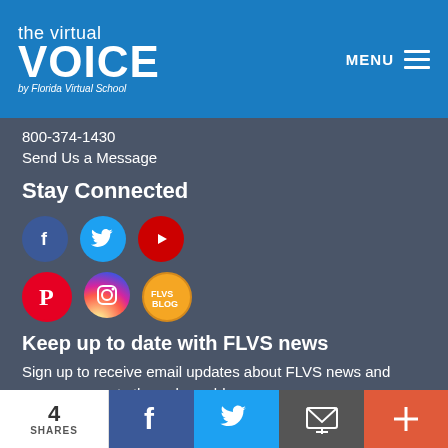the virtual VOICE by Florida Virtual School
800-374-1430
Send Us a Message
Stay Connected
[Figure (infographic): Social media icons: Facebook, Twitter, YouTube, Pinterest, Instagram, FLVS Blog]
Keep up to date with FLVS news
Sign up to receive email updates about FLVS news and announcements through our blog.
SUBSCRIBE
4 SHARES | Facebook share | Twitter share | Email share | More